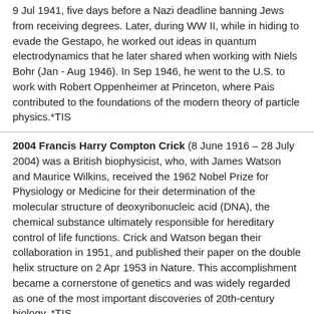9 Jul 1941, five days before a Nazi deadline banning Jews from receiving degrees. Later, during WW II, while in hiding to evade the Gestapo, he worked out ideas in quantum electrodynamics that he later shared when working with Niels Bohr (Jan - Aug 1946). In Sep 1946, he went to the U.S. to work with Robert Oppenheimer at Princeton, where Pais contributed to the foundations of the modern theory of particle physics.*TIS
2004 Francis Harry Compton Crick (8 June 1916 – 28 July 2004) was a British biophysicist, who, with James Watson and Maurice Wilkins, received the 1962 Nobel Prize for Physiology or Medicine for their determination of the molecular structure of deoxyribonucleic acid (DNA), the chemical substance ultimately responsible for hereditary control of life functions. Crick and Watson began their collaboration in 1951, and published their paper on the double helix structure on 2 Apr 1953 in Nature. This accomplishment became a cornerstone of genetics and was widely regarded as one of the most important discoveries of 20th-century biology. *TIS